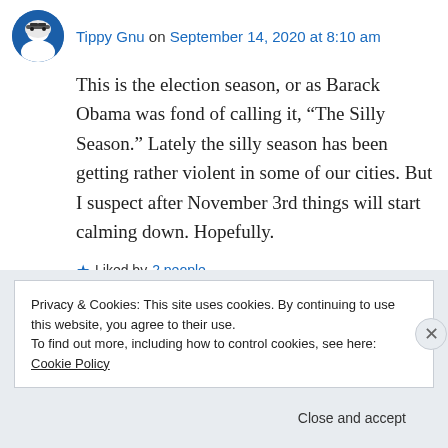Tippy Gnu on September 14, 2020 at 8:10 am
This is the election season, or as Barack Obama was fond of calling it, “The Silly Season.” Lately the silly season has been getting rather violent in some of our cities. But I suspect after November 3rd things will start calming down. Hopefully.
Liked by 2 people
Reply
Privacy & Cookies: This site uses cookies. By continuing to use this website, you agree to their use.
To find out more, including how to control cookies, see here: Cookie Policy
Close and accept